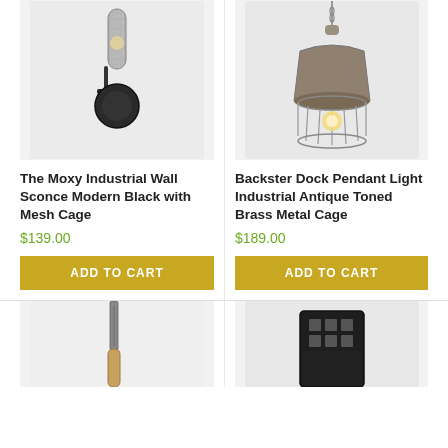[Figure (photo): The Moxy Industrial Wall Sconce Modern Black with Mesh Cage product photo on light background]
[Figure (photo): Backster Dock Pendant Light Industrial Antique Toned Brass Metal Cage product photo on light background]
The Moxy Industrial Wall Sconce Modern Black with Mesh Cage
$139.00
ADD TO CART
Backster Dock Pendant Light Industrial Antique Toned Brass Metal Cage
$189.00
ADD TO CART
[Figure (photo): Bottom left product photo - screwdriver or similar tool on light background]
[Figure (photo): Bottom right product photo - dark wooden lantern or light fixture on light background]